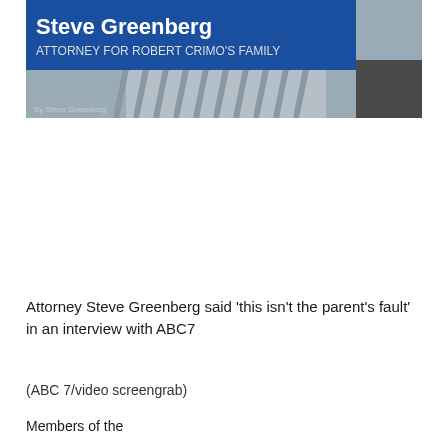[Figure (screenshot): TV news screenshot showing Steve Greenberg with lower-third graphic reading 'Steve Greenberg / ATTORNEY FOR ROBERT CRIMO'S FAMILY' in white text on blue background. Background shows a person in a striped shirt.]
Attorney Steve Greenberg said 'this isn't the parent's fault' in an interview with ABC7
(ABC 7/video screengrab)
Members of the...